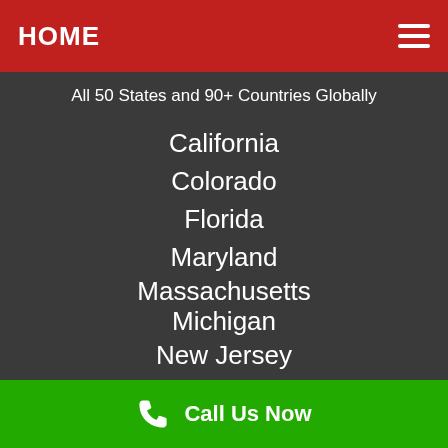HOME
All 50 States and 90+ Countries Globally
California
Colorado
Florida
Maryland
Massachusetts
Michigan
New Jersey
New York
Call Us Now